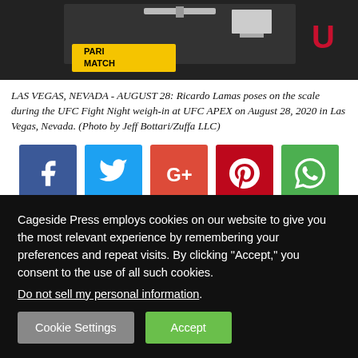[Figure (photo): Photo of Ricardo Lamas on the scale at UFC APEX weigh-in, with Parimatch branding visible in the background]
LAS VEGAS, NEVADA - AUGUST 28: Ricardo Lamas poses on the scale during the UFC Fight Night weigh-in at UFC APEX on August 28, 2020 in Las Vegas, Nevada. (Photo by Jeff Bottari/Zuffa LLC)
[Figure (infographic): Social share buttons: Facebook, Twitter, Google+, Pinterest, WhatsApp]
Aleksander Rakic defeated Anthony Smtih via unanimous decision in the main event of UFC Vegas 8. Ricardo Lamas
Cageside Press employs cookies on our website to give you the most relevant experience by remembering your preferences and repeat visits. By clicking “Accept,” you consent to the use of all such cookies. Do not sell my personal information.